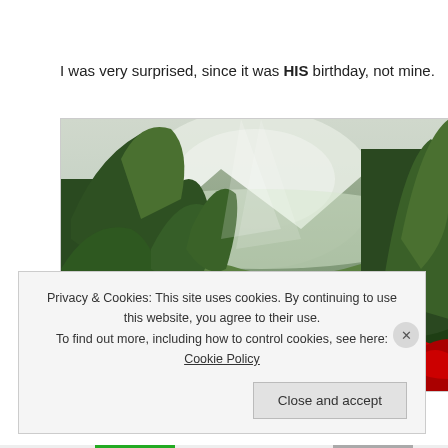I was very surprised, since it was HIS birthday, not mine.
[Figure (photo): Outdoor scene with green trees, misty mountains in the background, and red roses in the foreground lower right corner.]
Privacy & Cookies: This site uses cookies. By continuing to use this website, you agree to their use.
To find out more, including how to control cookies, see here: Cookie Policy
Close and accept